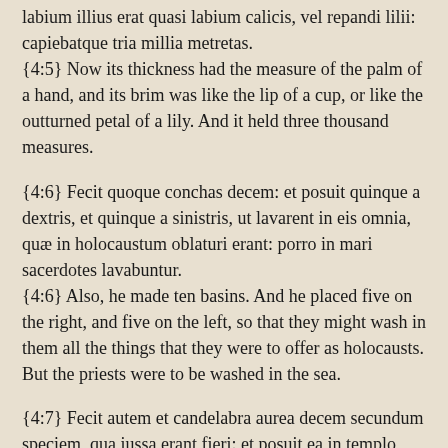labium illius erat quasi labium calicis, vel repandi lilii: capiebatque tria millia metretas.
{4:5} Now its thickness had the measure of the palm of a hand, and its brim was like the lip of a cup, or like the outturned petal of a lily. And it held three thousand measures.
{4:6} Fecit quoque conchas decem: et posuit quinque a dextris, et quinque a sinistris, ut lavarent in eis omnia, quæ in holocaustum oblaturi erant: porro in mari sacerdotes lavabuntur.
{4:6} Also, he made ten basins. And he placed five on the right, and five on the left, so that they might wash in them all the things that they were to offer as holocausts. But the priests were to be washed in the sea.
{4:7} Fecit autem et candelabra aurea decem secundum speciem, qua iussa erant fieri: et posuit ea in templo, quinque a dextris, et quinque a sinistris.